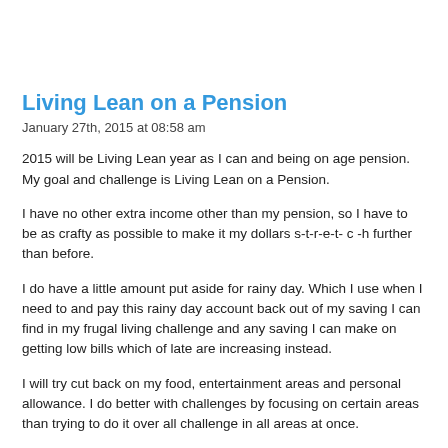Living Lean on a Pension
January 27th, 2015 at 08:58 am
2015 will be Living Lean year as I can and being on age pension. My goal and challenge is Living Lean on a Pension.
I have no other extra income other than my pension, so I have to be as crafty as possible to make it my dollars s-t-r-e-t- c -h further than before.
I do have a little amount put aside for rainy day. Which I use when I need to and pay this rainy day account back out of my saving I can find in my frugal living challenge and any saving I can make on getting low bills which of late are increasing instead.
I will try cut back on my food, entertainment areas and personal allowance. I do better with challenges by focusing on certain areas than trying to do it over all challenge in all areas at once.
I will try to reduce my spending on what spend in the supermarket and on